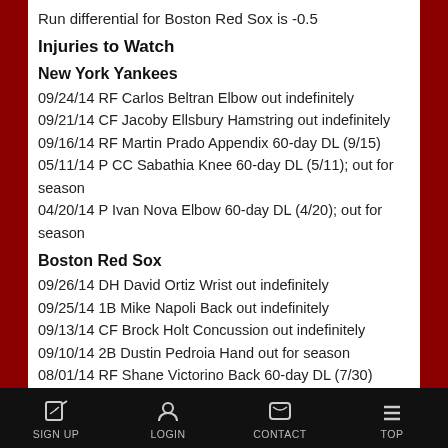Boston Red Sox are 65-85 against the Over/Under.
Run differential for Boston Red Sox is -0.5
Injuries to Watch
New York Yankees
09/24/14 RF Carlos Beltran Elbow out indefinitely
09/21/14 CF Jacoby Ellsbury Hamstring out indefinitely
09/16/14 RF Martin Prado Appendix 60-day DL (9/15)
05/11/14 P CC Sabathia Knee 60-day DL (5/11); out for season
04/20/14 P Ivan Nova Elbow 60-day DL (4/20); out for season
Boston Red Sox
09/26/14 DH David Ortiz Wrist out indefinitely
09/25/14 1B Mike Napoli Back out indefinitely
09/13/14 CF Brock Holt Concussion out indefinitely
09/10/14 2B Dustin Pedroia Hand out for season
08/01/14 RF Shane Victorino Back 60-day DL (7/30)
SIGN UP  LOGIN  CONTACT  TOP